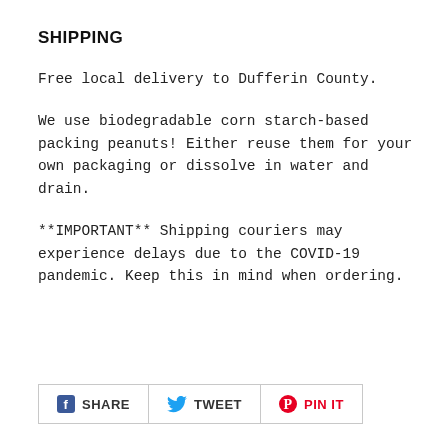SHIPPING
Free local delivery to Dufferin County.
We use biodegradable corn starch-based packing peanuts! Either reuse them for your own packaging or dissolve in water and drain.
**IMPORTANT** Shipping couriers may experience delays due to the COVID-19 pandemic. Keep this in mind when ordering.
[Figure (other): Social sharing buttons: Facebook SHARE, Twitter TWEET, Pinterest PIN IT]